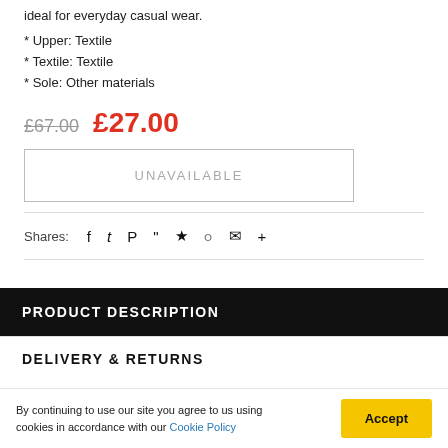ideal for everyday casual wear.
* Upper: Textile
* Textile: Textile
* Sole: Other materials
£67.00   £27.00
UNAVAILABLE
Shares:
PRODUCT DESCRIPTION
DELIVERY & RETURNS
By continuing to use our site you agree to us using cookies in accordance with our Cookie Policy
Accept